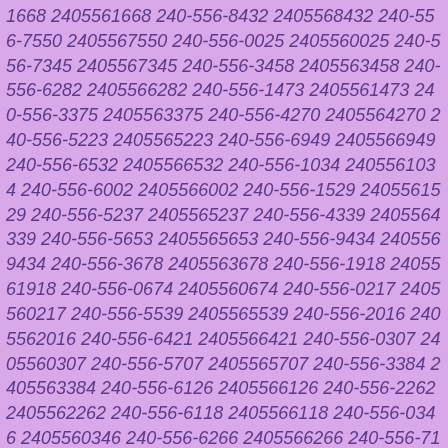1668 2405561668 240-556-8432 2405568432 240-556-7550 2405567550 240-556-0025 2405560025 240-556-7345 2405567345 240-556-3458 2405563458 240-556-6282 2405566282 240-556-1473 2405561473 240-556-3375 2405563375 240-556-4270 2405564270 240-556-5223 2405565223 240-556-6949 2405566949 240-556-6532 2405566532 240-556-1034 2405561034 240-556-6002 2405566002 240-556-1529 2405561529 240-556-5237 2405565237 240-556-4339 2405564339 240-556-5653 2405565653 240-556-9434 2405569434 240-556-3678 2405563678 240-556-1918 2405561918 240-556-0674 2405560674 240-556-0217 2405560217 240-556-5539 2405565539 240-556-2016 2405562016 240-556-6421 2405566421 240-556-0307 2405560307 240-556-5707 2405565707 240-556-3384 2405563384 240-556-6126 2405566126 240-556-2262 2405562262 240-556-6118 2405566118 240-556-0346 2405560346 240-556-6266 2405566266 240-556-7196 2405567196 240-556-1391 2405561391 240-556-9002 2405569002 240-556-9915 2405569915 240-556-1435 2405561435 240-556-9856 2405569856 240-556-6406 2405566406 240-556-